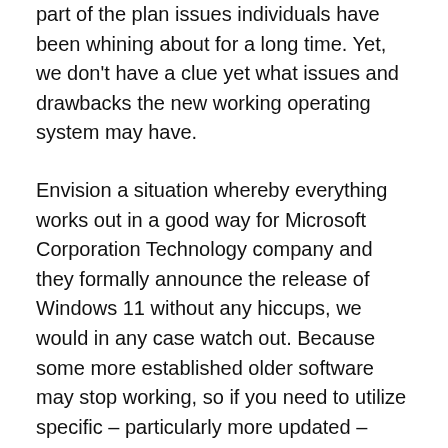part of the plan issues individuals have been whining about for a long time. Yet, we don't have a clue yet what issues and drawbacks the new working operating system may have.
Envision a situation whereby everything works out in a good way for Microsoft Corporation Technology company and they formally announce the release of Windows 11 without any hiccups, we would in any case watch out. Because some more established older software may stop working, so if you need to utilize specific – particularly more updated – applications, you should wait. Past Windows versions (Window 10) didn't break a ton of desktop applications and were known to offer extraordinary compatibility features, yet it could occur. So it's something we need to look out for.
Having seen the amazing features that the new Microsoft Window 11 has to give the users, we will like to go straight to some questions that our users have been asking before